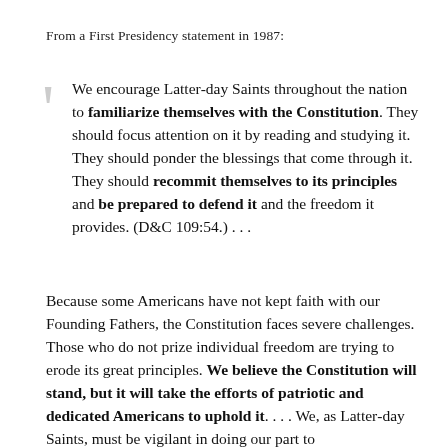From a First Presidency statement in 1987:
We encourage Latter-day Saints throughout the nation to familiarize themselves with the Constitution. They should focus attention on it by reading and studying it. They should ponder the blessings that come through it. They should recommit themselves to its principles and be prepared to defend it and the freedom it provides. (D&C 109:54.) . . .
Because some Americans have not kept faith with our Founding Fathers, the Constitution faces severe challenges. Those who do not prize individual freedom are trying to erode its great principles. We believe the Constitution will stand, but it will take the efforts of patriotic and dedicated Americans to uphold it. . . . We, as Latter-day Saints, must be vigilant in doing our part to